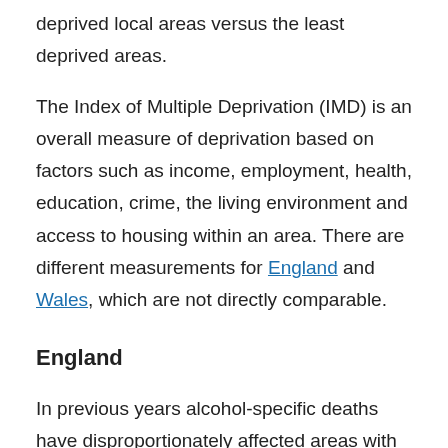deprived local areas versus the least deprived areas.
The Index of Multiple Deprivation (IMD) is an overall measure of deprivation based on factors such as income, employment, health, education, crime, the living environment and access to housing within an area. There are different measurements for England and Wales, which are not directly comparable.
England
In previous years alcohol-specific deaths have disproportionately affected areas with higher levels of deprivation (see Figure 4). In 2019 the alcohol-specific death rate for males was 3.8 times higher in the most